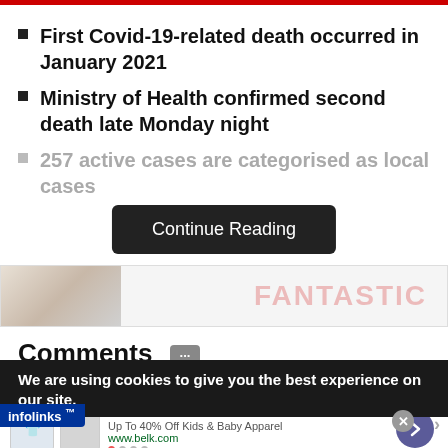First Covid-19-related death occurred in January 2021
Ministry of Health confirmed second death late Monday night
257 active cases are categorised as local cases
Continue Reading
[Figure (other): Partially visible advertisement image with text FANTASTIC in pink/red faded letters]
Comments
We are using cookies to give you the best experience on our site.
infolinks
Belk.com - Belk® - Official Site
Up To 40% Off Kids & Baby Apparel
www.belk.com